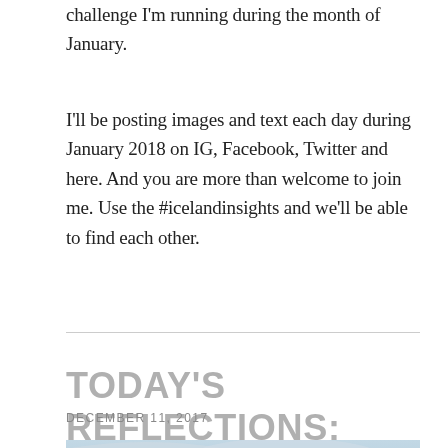challenge I'm running during the month of January.
I'll be posting images and text each day during January 2018 on IG, Facebook, Twitter and here. And you are more than welcome to join me. Use the #icelandinsights and we'll be able to find each other.
TODAY'S REFLECTIONS:
DECEMBER 11, 2017
[Figure (photo): Sky with clouds in muted blue and grey tones]